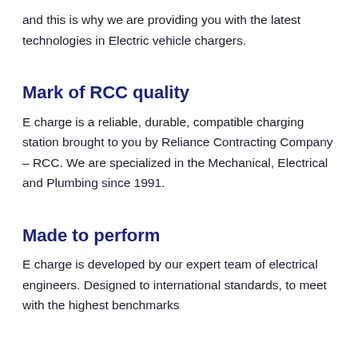and this is why we are providing you with the latest technologies in Electric vehicle chargers.
Mark of RCC quality
E charge is a reliable, durable, compatible charging station brought to you by Reliance Contracting Company – RCC. We are specialized in the Mechanical, Electrical and Plumbing since 1991.
Made to perform
E charge is developed by our expert team of electrical engineers. Designed to international standards, to meet with the highest benchmarks